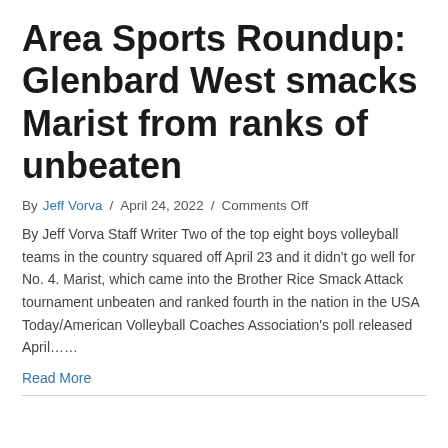Area Sports Roundup: Glenbard West smacks Marist from ranks of unbeaten
By Jeff Vorva / April 24, 2022 / Comments Off
By Jeff Vorva Staff Writer Two of the top eight boys volleyball teams in the country squared off April 23 and it didn't go well for No. 4. Marist, which came into the Brother Rice Smack Attack tournament unbeaten and ranked fourth in the nation in the USA Today/American Volleyball Coaches Association's poll released April……
Read More